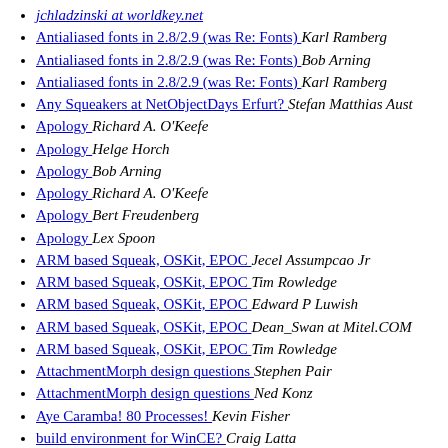jchladzinski at worldkey.net
Antialiased fonts in 2.8/2.9 (was Re: Fonts)  Karl Ramberg
Antialiased fonts in 2.8/2.9 (was Re: Fonts)  Bob Arning
Antialiased fonts in 2.8/2.9 (was Re: Fonts)  Karl Ramberg
Any Squeakers at NetObjectDays Erfurt?  Stefan Matthias Aust
Apology  Richard A. O'Keefe
Apology  Helge Horch
Apology  Bob Arning
Apology  Richard A. O'Keefe
Apology  Bert Freudenberg
Apology  Lex Spoon
ARM based Squeak, OSKit, EPOC  Jecel Assumpcao Jr
ARM based Squeak, OSKit, EPOC  Tim Rowledge
ARM based Squeak, OSKit, EPOC  Edward P Luwish
ARM based Squeak, OSKit, EPOC  Dean_Swan at Mitel.COM
ARM based Squeak, OSKit, EPOC  Tim Rowledge
AttachmentMorph design questions  Stephen Pair
AttachmentMorph design questions  Ned Konz
Aye Caramba! 80 Processes!  Kevin Fisher
build environment for WinCE?  Craig Latta
build environment for WinCE?  Ned Konz